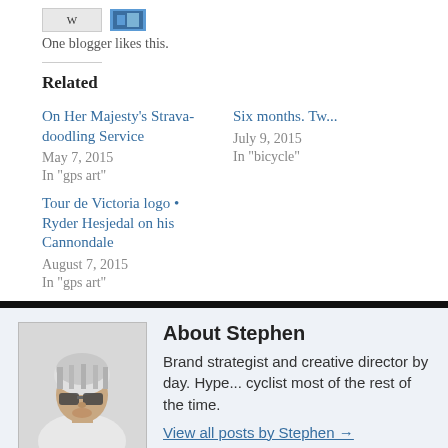One blogger likes this.
Related
On Her Majesty's Strava-doodling Service
May 7, 2015
In "gps art"
Six months. Tw...
July 9, 2015
In "bicycle"
Tour de Victoria logo • Ryder Hesjedal on his Cannondale
August 7, 2015
In "gps art"
[Figure (photo): Author photo of Stephen wearing a cycling helmet and sunglasses]
About Stephen
Brand strategist and creative director by day. Hype... cyclist most of the rest of the time.
View all posts by Stephen →